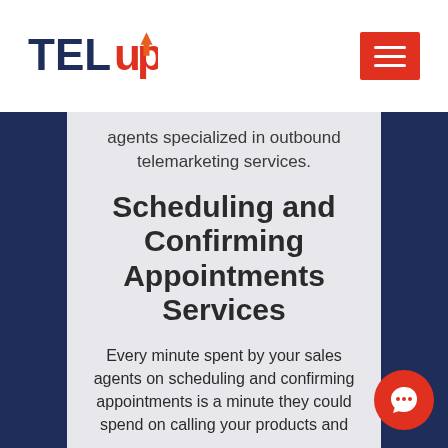TelUp logo and navigation hamburger menu
agents specialized in outbound telemarketing services.
Scheduling and Confirming Appointments Services
Every minute spent by your sales agents on scheduling and confirming appointments is a minute they could spend on calling your products and